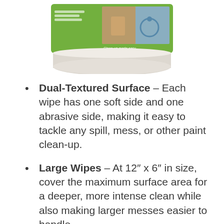[Figure (photo): Product photo of a green and white cylindrical tub/container with label showing painted surfaces and text 'Clean-up made easy'. Only the top portion of the container is visible.]
Dual-Textured Surface – Each wipe has one soft side and one abrasive side, making it easy to tackle any spill, mess, or other paint clean-up.
Large Wipes – At 12″ x 6″ in size, cover the maximum surface area for a deeper, more intense clean while also making larger messes easier to handle.
Moisturizing Support – Great for painters, artists, and hobbyists alike, these wipes are designed to protect and rehydrate skin during use, preventing cracking, cuts, chapping,